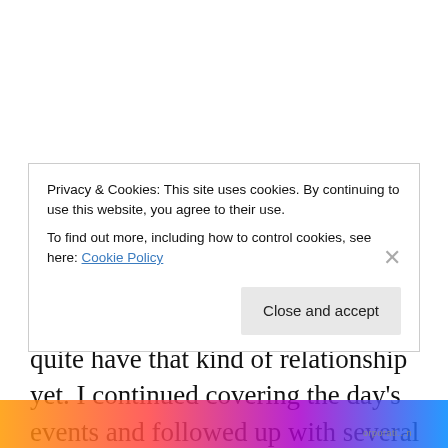Advertisements
I wanted to scream and hug the Congress member, but we didn’t quite have that kind of relationship yet. I continued covering the day’s events and followed up with several other interviews on radio stations around the country and finished up the day on SiriusXM Radio with my husband and another friend and her wife…and a bottle of
Privacy & Cookies: This site uses cookies. By continuing to use this website, you agree to their use.
To find out more, including how to control cookies, see here: Cookie Policy
Close and accept